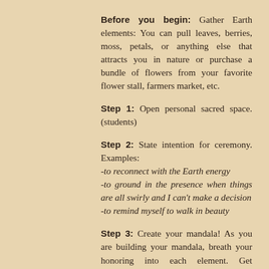Before you begin: Gather Earth elements: You can pull leaves, berries, moss, petals, or anything else that attracts you in nature or purchase a bundle of flowers from your favorite flower stall, farmers market, etc.
Step 1: Open personal sacred space. (students)
Step 2: State intention for ceremony. Examples: -to reconnect with the Earth energy -to ground in the presence when things are all swirly and I can't make a decision -to remind myself to walk in beauty
Step 3: Create your mandala! As you are building your mandala, breath your honoring into each element. Get creative!